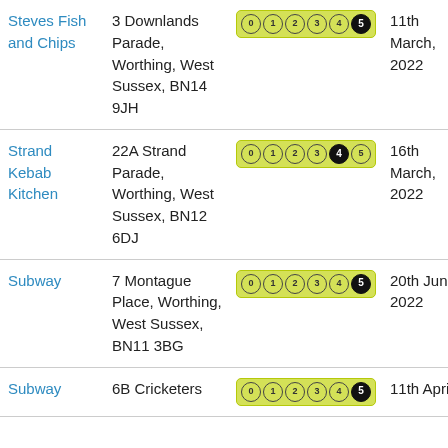| Name | Address | Rating | Date |
| --- | --- | --- | --- |
| Steves Fish and Chips | 3 Downlands Parade, Worthing, West Sussex, BN14 9JH | 5 | 11th March, 2022 |
| Strand Kebab Kitchen | 22A Strand Parade, Worthing, West Sussex, BN12 6DJ | 4 | 16th March, 2022 |
| Subway | 7 Montague Place, Worthing, West Sussex, BN11 3BG | 5 | 20th June, 2022 |
| Subway | 6B Cricketers | 5 | 11th April, |